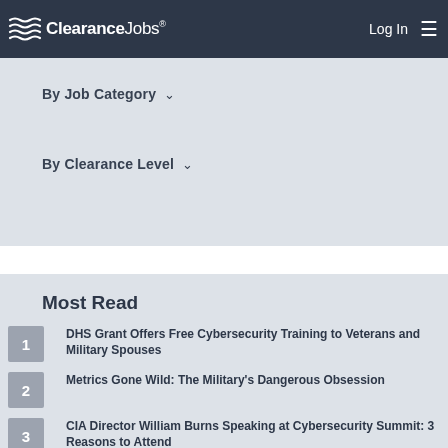ClearanceJobs® Log In ☰
By Job Category ∨
By Clearance Level ∨
Most Read
1 DHS Grant Offers Free Cybersecurity Training to Veterans and Military Spouses
2 Metrics Gone Wild: The Military's Dangerous Obsession
3 CIA Director William Burns Speaking at Cybersecurity Summit: 3 Reasons to Attend